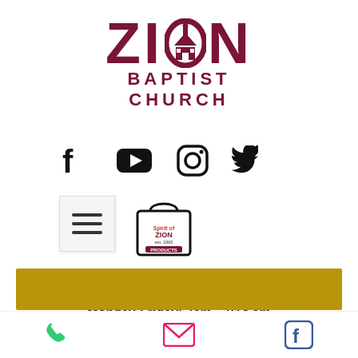[Figure (logo): Zion Baptist Church logo with church building icon inside the letter O]
[Figure (infographic): Social media icons row: Facebook, YouTube, Instagram, Twitter; second row: hamburger menu button and Spirit of Zion Products shopping bag icon]
Weekly Prayer Line: (669) 275-0161
Monday-Friday: 7am - 7:14 am
Monday Nights: 7 pm
[Figure (other): Gold/olive colored horizontal bar]
[Figure (infographic): Bottom navigation bar with phone, email, and Facebook icons]